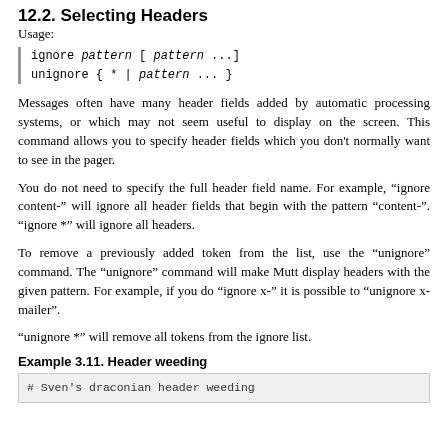12.2. Selecting Headers
Usage:
Messages often have many header fields added by automatic processing systems, or which may not seem useful to display on the screen. This command allows you to specify header fields which you don't normally want to see in the pager.
You do not need to specify the full header field name. For example, “ignore content-” will ignore all header fields that begin with the pattern “content-”. “ignore *” will ignore all headers.
To remove a previously added token from the list, use the “unignore” command. The “unignore” command will make Mutt display headers with the given pattern. For example, if you do “ignore x-” it is possible to “unignore x-mailer”.
“unignore *” will remove all tokens from the ignore list.
Example 3.11. Header weeding
# Sven's draconian header weeding